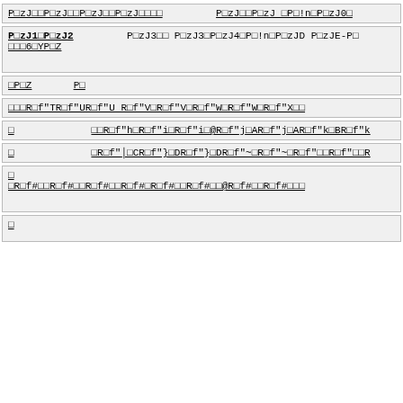P□zJ□□P□zJ□□P□zJ□□P□zJ□□□□         P□zJ□□P□zJ □P□!n□P□zJ0□
P□zJ1□P□zJ2        P□zJ3□□ P□zJ3□P□zJ4□P□!n□P□zJD P□zJE-P□ □□□6□YP□Z
□P□Z       P□
□□□R□f"TR□f"UR□f"U R□f"V□R□f"V□R□f"W□R□f"W□R□f"X□□
□         □□R□f"h□R□f"i□R□f"i□@R□f"j□AR□f"j□AR□f"k□BR□f"k
□         □R□f"│□CR□f"}□DR□f"}□DR□f"~□R□f"~□R□f"□□R□f"□□R
□
□R□f#□□R□f#□□R□f#□□R□f#□R□f#□□R□f#□□@R□f#□□R□f#□□□
□